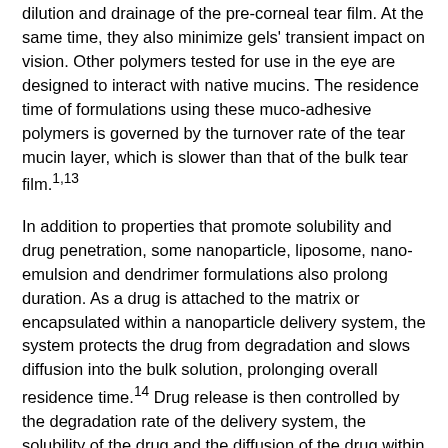dilution and drainage of the pre-corneal tear film. At the same time, they also minimize gels' transient impact on vision. Other polymers tested for use in the eye are designed to interact with native mucins. The residence time of formulations using these muco-adhesive polymers is governed by the turnover rate of the tear mucin layer, which is slower than that of the bulk tear film.1,13
In addition to properties that promote solubility and drug penetration, some nanoparticle, liposome, nano-emulsion and dendrimer formulations also prolong duration. As a drug is attached to the matrix or encapsulated within a nanoparticle delivery system, the system protects the drug from degradation and slows diffusion into the bulk solution, prolonging overall residence time.14 Drug release is then controlled by the degradation rate of the delivery system, the solubility of the drug and the diffusion of the drug within the nanoparticle delivery system.15
Punctal plugs can be considered one of the simplest pharmacokinetic-modifying strategies, slowing tear drainage